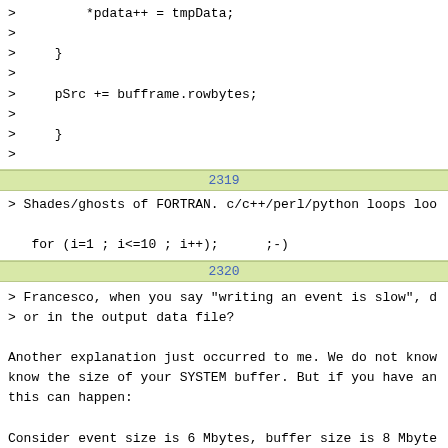> *pdata++ = tmpData;
>
>     }
>
>     pSrc += bufframe.rowbytes;
>
>     }
>
2319
> Shades/ghosts of FORTRAN. c/c++/perl/python loops loo

   for (i=1 ; i<=10 ; i++);      ;-)
2320
> Francesco, when you say "writing an event is slow", d
> or in the output data file?

Another explanation just occurred to me. We do not know
know the size of your SYSTEM buffer. But if you have an
this can happen:

Consider event size is 6 Mbytes, buffer size is 8 Mbyte

First event is written quickly (buffer is empty).
Second event will be delayed, there is not enough free